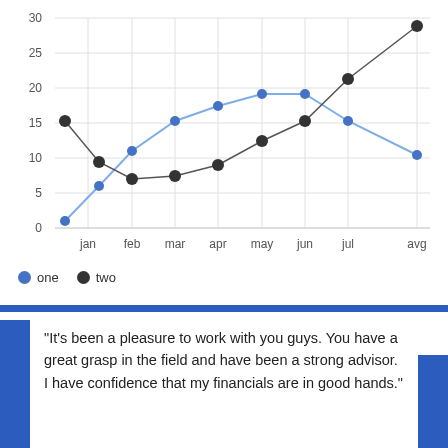[Figure (line-chart): ]
“It’s been a pleasure to work with you guys. You have a great grasp in the field and have been a strong advisor. I have confidence that my financials are in good hands.”